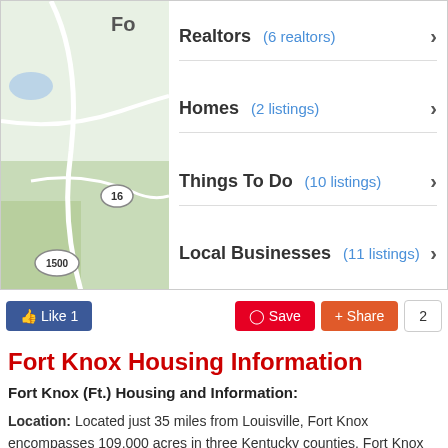[Figure (map): Partial map view showing Fort Knox area with roads, green areas, and route markers 16 and 1500]
Realtors (6 realtors)
Homes (2 listings)
Things To Do (10 listings)
Local Businesses (11 listings)
Like 1  Save  Share  2
Fort Knox Housing Information
Fort Knox (Ft.) Housing and Information:
Location: Located just 35 miles from Louisville, Fort Knox encompasses 109,000 acres in three Kentucky counties. Fort Knox has a population of over 40,000 Soldiers, family members and civilian employees. Fort Knox uniquely boasts the sole responsibility for all Soldier career management, from swearing